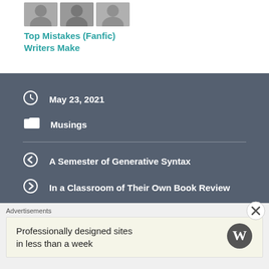[Figure (photo): Three small thumbnail images of people's faces]
Top Mistakes (Fanfic) Writers Make
May 23, 2021
Musings
A Semester of Generative Syntax
In a Classroom of Their Own Book Review
Leave a Reply
Advertisements
Professionally designed sites in less than a week